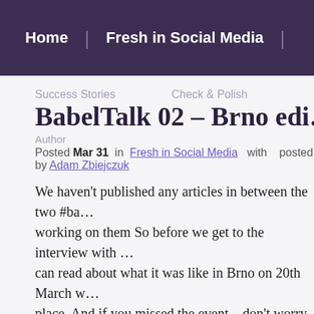Home | Fresh in Social Media
Success Stories    Check & Polish
BabelTalk 02 – Brno edi…
Author
Posted Mar 31  in Fresh in Social Media  with  posted by Adam Zbiejczuk
We haven't published any articles in between the two #ba… working on them So before we get to the interview with … can read about what it was like in Brno on 20th March w… place. And if you missed the event – don't worry. We hav…